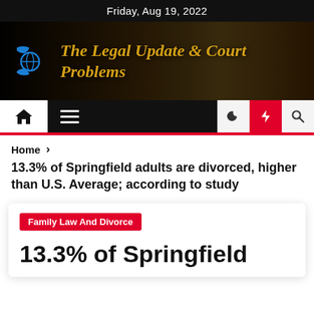Friday, Aug 19, 2022
[Figure (logo): The Legal Update & Court Problems website banner with logo showing blue hands holding globe and Lady Justice statue in background]
[Figure (screenshot): Navigation bar with home icon, hamburger menu, moon icon, lightning bolt icon (red), and search icon]
Home > 13.3% of Springfield adults are divorced, higher than U.S. Average; according to study
13.3% of Springfield adults are divorced, higher than U.S. Average; according to study
Family Law And Divorce
13.3% of Springfield